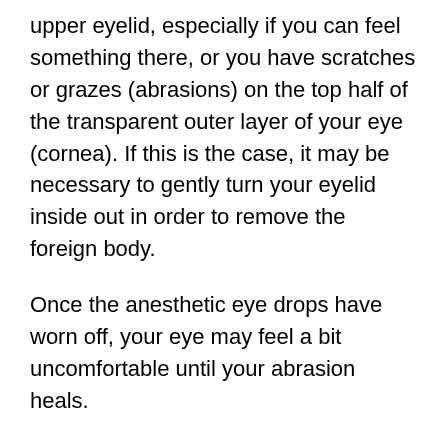upper eyelid, especially if you can feel something there, or you have scratches or grazes (abrasions) on the top half of the transparent outer layer of your eye (cornea). If this is the case, it may be necessary to gently turn your eyelid inside out in order to remove the foreign body.
Once the anesthetic eye drops have worn off, your eye may feel a bit uncomfortable until your abrasion heals.
Whatever is happening with your eyes or if you suffer or even suspect that a foreign body has penetrated the outer eye layer better go without delay to the nearest treatment center. Doing nothing can lead to loss of vision, premature cataracts and damage to the retina so do not take any chances, delay is